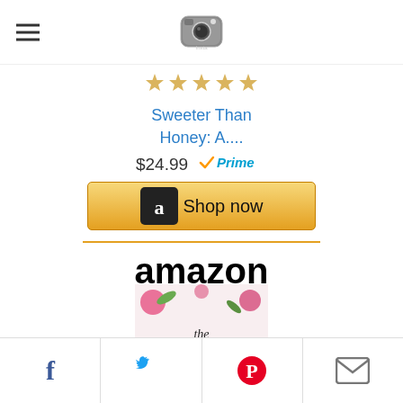[Figure (logo): Instagram camera logo icon at top center]
[Figure (illustration): Star rating row (gold star icons)]
Sweeter Than Honey: A....
$24.99
[Figure (logo): Amazon Prime checkmark logo]
[Figure (logo): Amazon Shop now button with Amazon logo]
[Figure (logo): Amazon logo with orange smile divider]
[Figure (illustration): Book cover: The Heart That Heals - floral watercolor cover with script text]
The Heart That Heals: Healing
[Figure (logo): Facebook share icon]
[Figure (logo): Twitter share icon]
[Figure (logo): Pinterest share icon]
[Figure (logo): Email share icon]